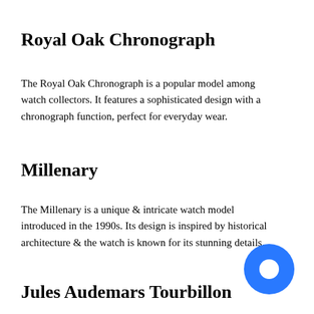Royal Oak Chronograph
The Royal Oak Chronograph is a popular model among watch collectors. It features a sophisticated design with a chronograph function, perfect for everyday wear.
Millenary
The Millenary is a unique & intricate watch model introduced in the 1990s. Its design is inspired by historical architecture & the watch is known for its stunning details.
Jules Audemars Tourbillon